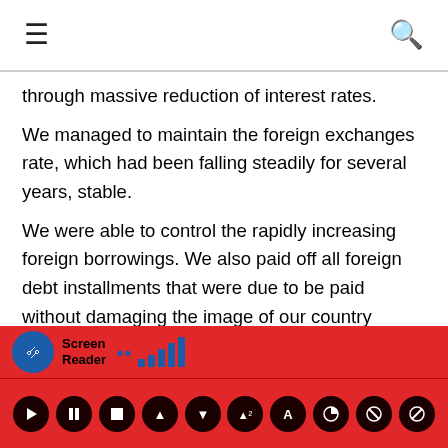≡ [navigation] 🔍 [search]
through massive reduction of interest rates.
We managed to maintain the foreign exchanges rate, which had been falling steadily for several years, stable.
We were able to control the rapidly increasing foreign borrowings. We also paid off all foreign debt installments that were due to be paid without damaging the image of our country internationally.
We took action to settle large sums of arrears that had not been paid to local suppliers by the previous government. Rs. 24 billion for fertilizer, Rs. 32 billion for medicines, Rs. 119 billion for construction, Rs. 20 billion for elders' allowance and Rs. 47 billion for those who provided services to various
Screen Reader [accessibility toolbar]